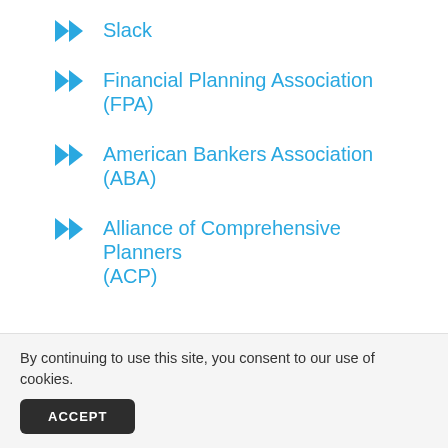Slack
Financial Planning Association (FPA)
American Bankers Association (ABA)
Alliance of Comprehensive Planners (ACP)
Get Your Free Blueprinting Guide
By continuing to use this site, you consent to our use of cookies.
ACCEPT